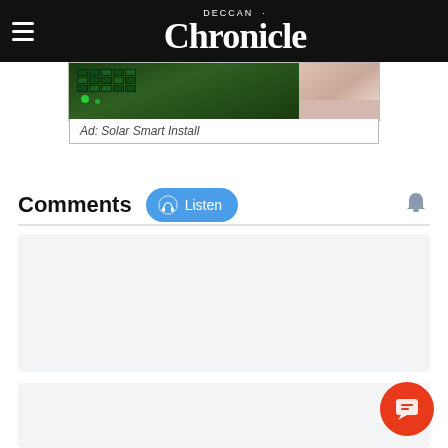Deccan Chronicle
[Figure (other): Advertisement image for Solar Smart Install showing solar panels and a person]
Ad: Solar Smart Install
Comments
[Figure (other): Listen button with headphone icon]
[Figure (other): Comment input box 1 (empty gray box)]
[Figure (other): Comment input box 2 (empty gray box)]